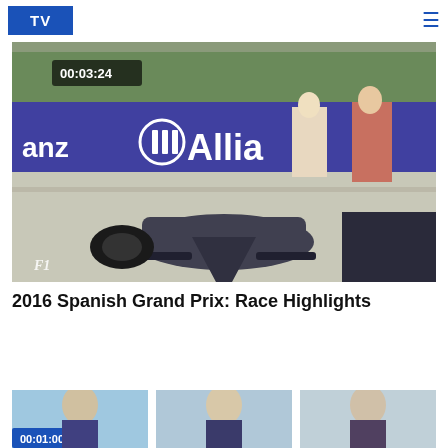TV
[Figure (screenshot): F1 race video thumbnail showing a Formula 1 car in gravel with Allianz advertising board in background, duration timestamp 00:03:24 in top left corner]
2016 Spanish Grand Prix: Race Highlights
[Figure (screenshot): Partial view of a second video thumbnail row showing duration 00:01:00 and multiple presenter thumbnails]